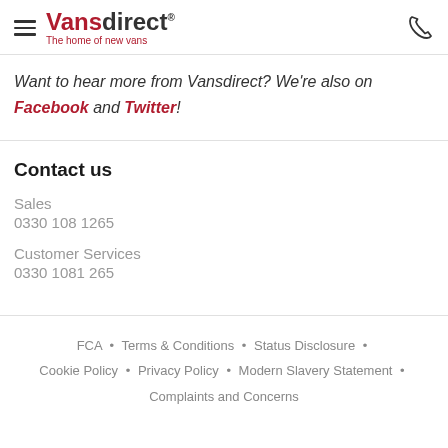Vansdirect – The home of new vans
Want to hear more from Vansdirect? We're also on Facebook and Twitter!
Contact us
Sales
0330 108 1265
Customer Services
0330 1081 265
FCA • Terms & Conditions • Status Disclosure • Cookie Policy • Privacy Policy • Modern Slavery Statement • Complaints and Concerns